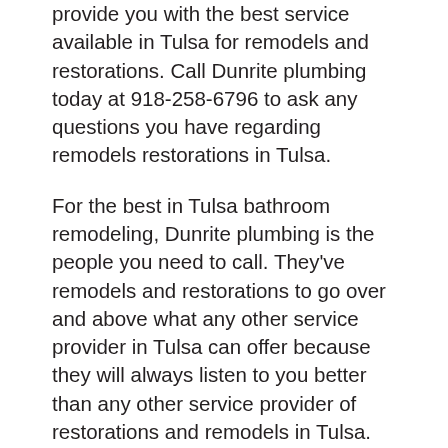provide you with the best service available in Tulsa for remodels and restorations. Call Dunrite plumbing today at 918-258-6796 to ask any questions you have regarding remodels restorations in Tulsa.
For the best in Tulsa bathroom remodeling, Dunrite plumbing is the people you need to call. They've remodels and restorations to go over and above what any other service provider in Tulsa can offer because they will always listen to you better than any other service provider of restorations and remodels in Tulsa. Dunrite plumbing will get the job done exactly the way you want every time. They have more experience than anybody else in Tulsa, so they are able to provide the most customized results your individual needs. For Tulsa bathroom remodeling that is customized to your individual needs and fits your family's style, Dunrite plumbing is the ideal service provider for you.
Dunrite plumbing only hires the highest quality workers in Tulsa, so if you're looking for workers that